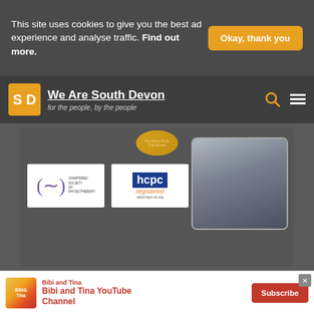This site uses cookies to give you the best ad experience and analyse traffic. Find out more.
Okay, thank you
[Figure (logo): We Are South Devon logo with orange SD badge and site title 'We Are South Devon - for the people, by the people']
[Figure (photo): Physiotherapy and massage service advertisement showing CSP (Chartered Society of Physiotherapy) and HCPC registered logos alongside a photo of a treatment bed]
Physiotherapy & Massage Services in Torbay
Find us on Facebook
We Are South Devon © 2013-2020
[Figure (infographic): Bibi and Tina YouTube Channel advertisement with Subscribe button]